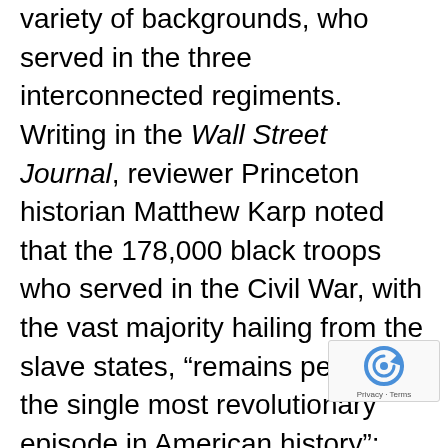variety of backgrounds, who served in the three interconnected regiments. Writing in the Wall Street Journal, reviewer Princeton historian Matthew Karp noted that the 178,000 black troops who served in the Civil War, with the vast majority hailing from the slave states, “remains perhaps the single most revolutionary episode in American history”; they were transformed from “legal property into armed agents of the U.S. government, carrying out a war of liberation against their former